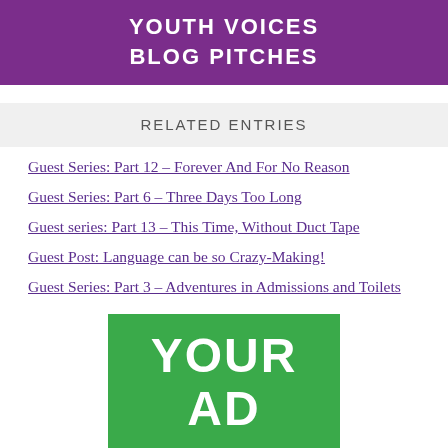YOUTH VOICES
BLOG PITCHES
RELATED ENTRIES
Guest Series: Part 12 – Forever And For No Reason
Guest Series: Part 6 – Three Days Too Long
Guest series: Part 13 – This Time, Without Duct Tape
Guest Post: Language can be so Crazy-Making!
Guest Series: Part 3 – Adventures in Admissions and Toilets
[Figure (other): Green advertisement placeholder box with white bold text reading YOUR AD]